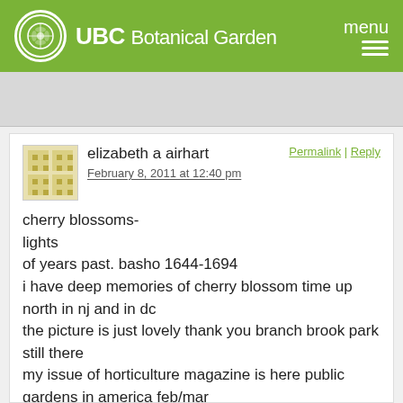UBC Botanical Garden  menu
elizabeth a airhart
February 8, 2011 at 12:40 pm
cherry blossoms-
lights
of years past. basho 1644-1694
i have deep memories of cherry blossom time up north in nj and in dc
the picture is just lovely thank you branch brook park still there
my issue of horticulture magazine is here public gardens in america feb/mar
with a lovely spread on the smithsonian gardens, daniel, with this link
http://gardens.si.edu and click archives of american gardens